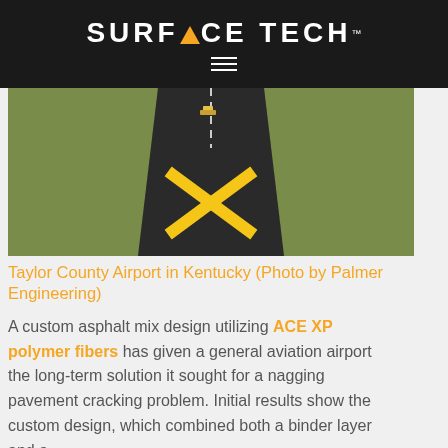SURFACE TECH™
[Figure (photo): Aerial view of Taylor County Airport runway in Kentucky showing a large yellow X marking on the pavement with green fields on either side and paving equipment visible]
Taylor County Airport in Kentucky (Photo by Palmer Engineering)
A custom asphalt mix design utilizing ACE XP polymer fibers has given a general aviation airport the long-term solution it sought for a nagging pavement cracking problem. Initial results show the custom design, which combined both a binder layer and a